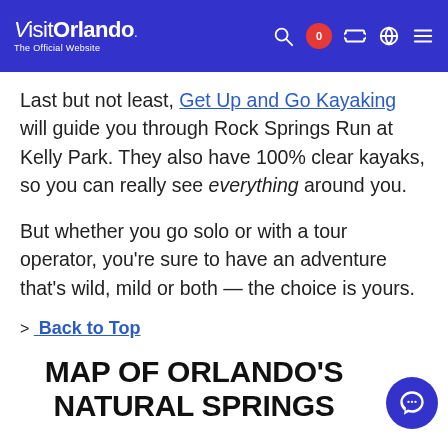Visit Orlando — The Official Website
Last but not least, Get Up and Go Kayaking will guide you through Rock Springs Run at Kelly Park. They also have 100% clear kayaks, so you can really see everything around you.
But whether you go solo or with a tour operator, you're sure to have an adventure that's wild, mild or both — the choice is yours.
> Back to Top
MAP OF ORLANDO'S NATURAL SPRINGS